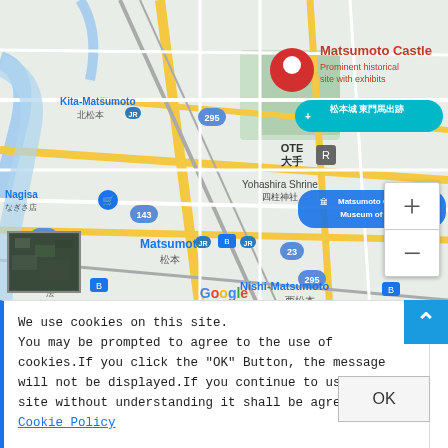[Figure (map): Google Maps view of Matsumoto area in Japan showing Matsumoto Castle with a red pin labeled 'Matsumoto Castle - Prominent historical site with exhibits', nearby landmarks including 松本城 東門馬出跡, Matsumoto City Museum of Art, Yohashira Shrine 四柱神社, Kita-Matsumoto 北松本, Nagisa なぎさ店, Matsumoto 松本, Nishi-Matsumoto 西松本, OTE 大手, and route numbers 295, 143, 158, 23, 63, 297. Zoom controls (+/-) visible on right side. Satellite thumbnail in bottom-left. Google logo at bottom-center. TSUKAMA text at bottom-right.]
We use cookies on this site. You may be prompted to agree to the use of cookies.If you click the "OK" Button, the message will not be displayed.If you continue to use this site without understanding it shall be agreed. Cookie Policy